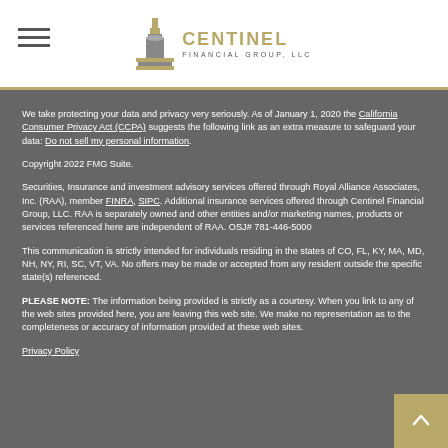[Figure (logo): Centinel Financial Group, LLC logo with lighthouse icon and gold text]
We take protecting your data and privacy very seriously. As of January 1, 2020 the California Consumer Privacy Act (CCPA) suggests the following link as an extra measure to safeguard your data: Do not sell my personal information.
Copyright 2022 FMG Suite.
Securities, Insurance and investment advisory services offered through Royal Alliance Associates, Inc. (RAA), member FINRA, SIPC. Additional insurance services offered through Centinel Financial Group, LLC. RAA is separately owned and other entities and/or marketing names, products or services referenced here are independent of RAA. OSJ# 781-446-5000
This communication is strictly intended for individuals residing in the states of CO, FL, KY, MA, MD, NH, NY, RI, SC, VT, VA. No offers may be made or accepted from any resident outside the specific state(s) referenced.
PLEASE NOTE: The information being provided is strictly as a courtesy. When you link to any of the web sites provided here, you are leaving this web site. We make no representation as to the completeness or accuracy of information provided at these web sites.
Privacy Policy